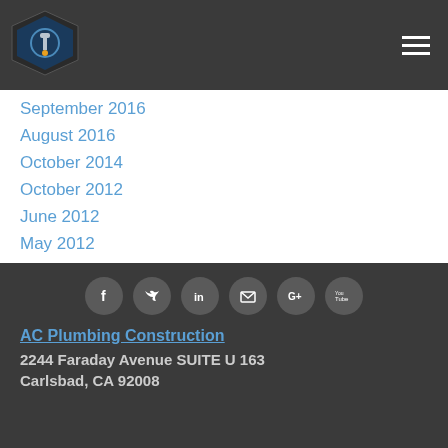[Figure (logo): AC Plumbing Construction logo — dark shield shape with plumbing icon]
September 2016
August 2016
October 2014
October 2012
June 2012
May 2012
April 2012
November 2011
RSS Feed
[Figure (infographic): Social media icons: Facebook, Twitter, LinkedIn, Email, Google+, YouTube — grey circles]
AC Plumbing Construction
2244 Faraday Avenue SUITE U 163
Carlsbad, CA 92008